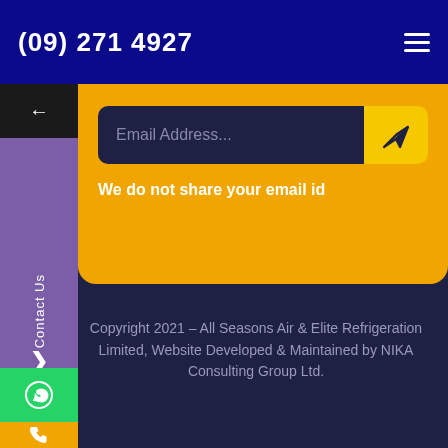(09) 271 4927
Email Address...
We do not share your email id
Contact Us
Copyright 2021 - All Seasons Air & Elite Refrigeration Limited, Website Developed & Maintained by NIKA Consulting Group Ltd.